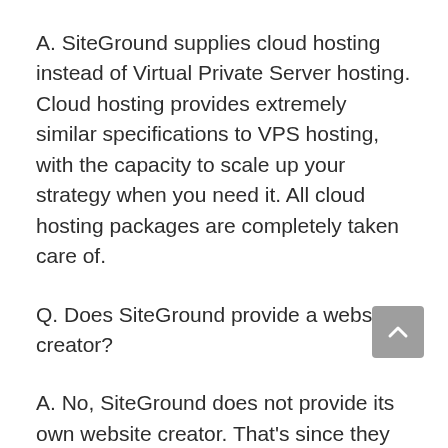A. SiteGround supplies cloud hosting instead of Virtual Private Server hosting. Cloud hosting provides extremely similar specifications to VPS hosting, with the capacity to scale up your strategy when you need it. All cloud hosting packages are completely taken care of.
Q. Does SiteGround provide a website creator?
A. No, SiteGround does not provide its own website creator. That’s since they want users to have the choice to choose the best website creator for their requirements.
This is why they allow you to conveniently